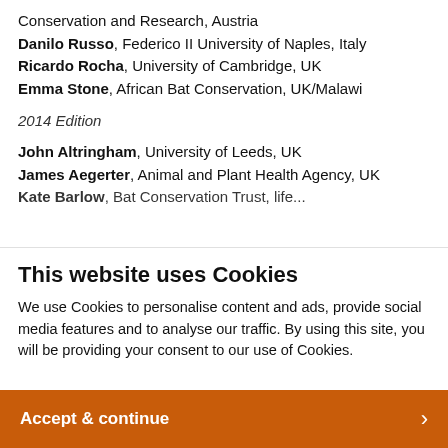Conservation and Research, Austria
Danilo Russo, Federico II University of Naples, Italy
Ricardo Rocha, University of Cambridge, UK
Emma Stone, African Bat Conservation, UK/Malawi
2014 Edition
John Altringham, University of Leeds, UK
James Aegerter, Animal and Plant Health Agency, UK
Kate Barlow, Bat Conservation Trust, life...
This website uses Cookies
We use Cookies to personalise content and ads, provide social media features and to analyse our traffic. By using this site, you will be providing your consent to our use of Cookies.
Accept & continue